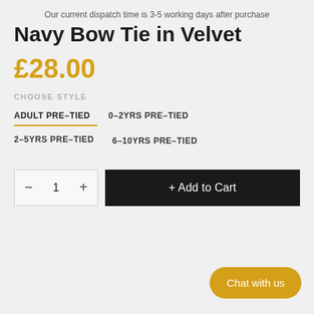Our current dispatch time is 3-5 working days after purchase
Navy Bow Tie in Velvet
£28.00
CHOOSE STYLE
ADULT PRE-TIED
0-2YRS PRE-TIED
2-5YRS PRE-TIED
6-10YRS PRE-TIED
− 1 +
+ Add to Cart
Chat with us